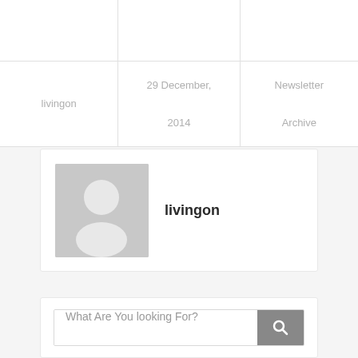|  |  |  |
| livingon | 29 December,
2014 | Newsletter
Archive |
[Figure (illustration): Author card with grey avatar placeholder silhouette and author name 'livingon' in bold]
livingon
What Are You looking For?